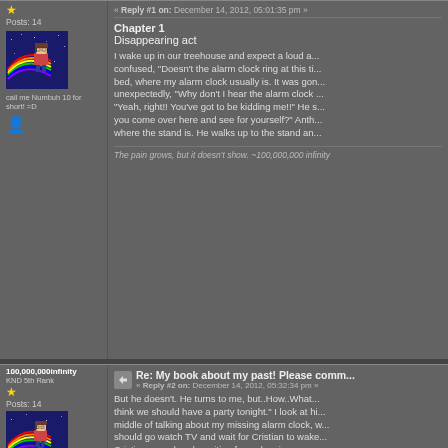Posts: 14
[Figure (illustration): Pixel art avatar of a girl flying with a rainbow, on a starry blue background]
call me Numbuh 10 for short! =D
Chapter 1
Disappearing act
I wake up in our treehouse and expect a loud a... confused, "Doesn't the alarm clock ring at this ti... bed, where my alarm clock usually is. It was gon... unexpectedly, "Why don't I hear the alarm clock ... "Yeah, right!! You've got to be kidding me!!" He s... you come over here and see for yourself?" Anth... where the stand is. He walks up to the stand an...
The pain grows, but it doesn't show. ~100,000,000 infinity
100,000,000infinity
KND 5th Rank
Posts: 14
[Figure (illustration): Pixel art avatar of a girl flying with a rainbow, on a starry blue background]
call me Numbuh 10 for short! =D
Re: My book about my past! Please comm...
« Reply #2 on: December 14, 2012, 05:32:34 pm »
But he doesn't. He turns to me, but..How..What... think we should have a party tonight." I look at hi... middle of talking about my missing alarm clock, w... should go watch TV and wait for Cristian to wake... Cristian was already waiting for us leaning up ag... was intrusted in your conversation when...